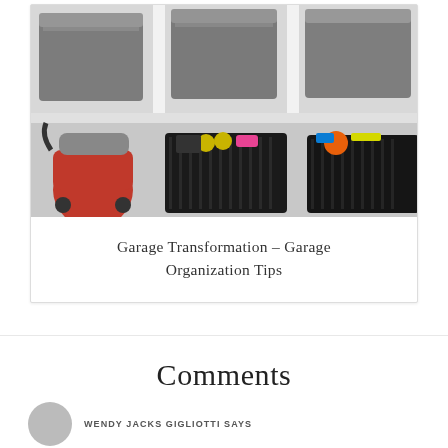[Figure (photo): Organized garage with white shelving unit. Top shelves hold gray storage bins with lids. Bottom area shows a red shop vacuum on the left, a large open black bin in the center filled with sports equipment and items, and another black bin on the right with colorful items.]
Garage Transformation – Garage Organization Tips
Comments
WENDY JACKS GIGLIOTTI SAYS